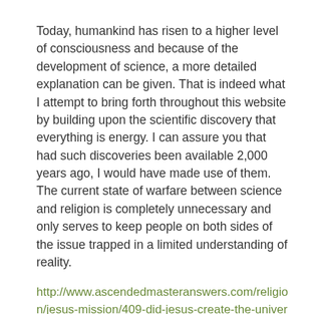Today, humankind has risen to a higher level of consciousness and because of the development of science, a more detailed explanation can be given. That is indeed what I attempt to bring forth throughout this website by building upon the scientific discovery that everything is energy. I can assure you that had such discoveries been available 2,000 years ago, I would have made use of them. The current state of warfare between science and religion is completely unnecessary and only serves to keep people on both sides of the issue trapped in a limited understanding of reality.
http://www.ascendedmasteranswers.com/religion/jesus-mission/409-did-jesus-create-the-universe
Liked by 1 person
REPLY